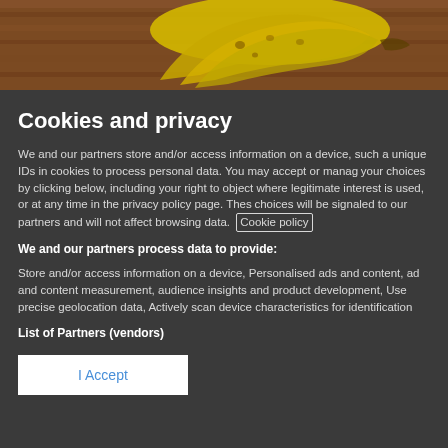[Figure (photo): Photo of bananas on a wooden surface, partially visible at top of page]
Cookies and privacy
We and our partners store and/or access information on a device, such a unique IDs in cookies to process personal data. You may accept or manage your choices by clicking below, including your right to object where legitimate interest is used, or at any time in the privacy policy page. These choices will be signaled to our partners and will not affect browsing data. Cookie policy
We and our partners process data to provide:
Store and/or access information on a device, Personalised ads and content, ad and content measurement, audience insights and product development, Use precise geolocation data, Actively scan device characteristics for identification
List of Partners (vendors)
I Accept